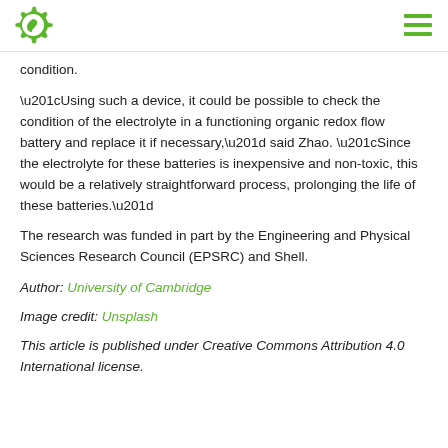[Logo: green gear with leaf] [Hamburger menu icon]
condition.
“Using such a device, it could be possible to check the condition of the electrolyte in a functioning organic redox flow battery and replace it if necessary,” said Zhao. “Since the electrolyte for these batteries is inexpensive and non-toxic, this would be a relatively straightforward process, prolonging the life of these batteries.”
The research was funded in part by the Engineering and Physical Sciences Research Council (EPSRC) and Shell.
Author: University of Cambridge
Image credit: Unsplash
This article is published under Creative Commons Attribution 4.0 International license.